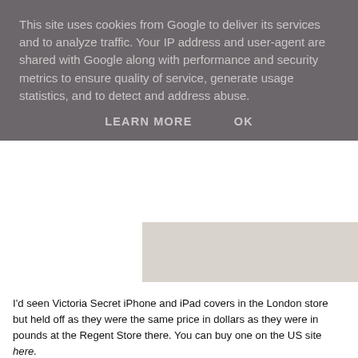This site uses cookies from Google to deliver its services and to analyze traffic. Your IP address and user-agent are shared with Google along with performance and security metrics to ensure quality of service, generate usage statistics, and to detect and address abuse.
LEARN MORE    OK
[Figure (photo): Partial view of a product image on a light grey/beige background, partially visible on the right side of the page]
I'd seen Victoria Secret iPhone and iPad covers in the London store but held off as they were the same price in dollars as they were in pounds at the Regent Store there. You can buy one on the US site here.
[Figure (photo): Victoria's Secret branded purple/indigo leather phone or tablet cover on a light beige background, with gold lettering reading VICTORIA'S SECRET]